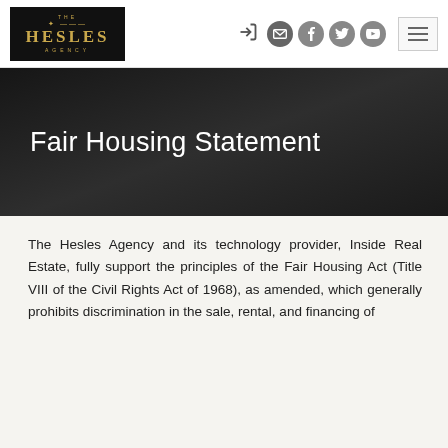[Figure (logo): The Hesles Agency logo — black background with gold key icon, 'THE' in small caps, 'HESLES' in large serif letters, 'AGENCY' below, all in gold color]
Navigation icons: login, email, facebook, twitter, youtube; hamburger menu button
Fair Housing Statement
The Hesles Agency and its technology provider, Inside Real Estate, fully support the principles of the Fair Housing Act (Title VIII of the Civil Rights Act of 1968), as amended, which generally prohibits discrimination in the sale, rental, and financing of dwellings...